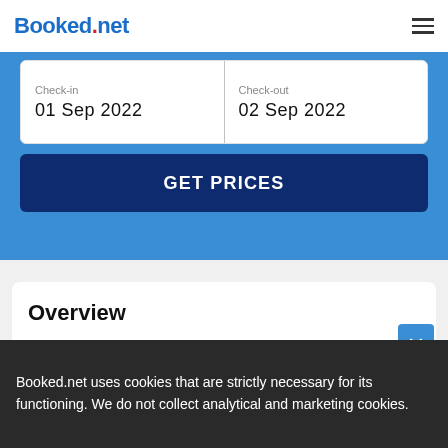Booked.net
Check-in: 01 Sep 2022 | Check-out: 02 Sep 2022
GET PRICES
Overview
Area attractions, including the upturned Love Monument and Spinola Bay are located only a short walk from the 4-star Hotel Juliani - Boutique Hotel Saint Julian's. High-speed internet access is available throughout the property as well as complimentary parking, an outdoor swimming pool and a sunbathing terrace are available on site.
Booked.net uses cookies that are strictly necessary for its functioning. We do not collect analytical and marketing cookies.